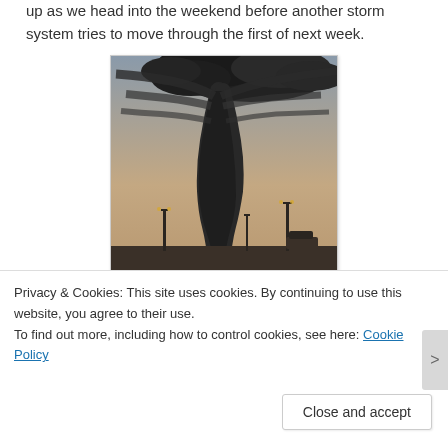up as we head into the weekend before another storm system tries to move through the first of next week.
[Figure (photo): A large dark black tornado or smoke column rising into a grey sky, with industrial structures and lights visible in the background at dusk.]
So what should we do if a tornado is approaching our
Privacy & Cookies: This site uses cookies. By continuing to use this website, you agree to their use. To find out more, including how to control cookies, see here: Cookie Policy
Close and accept